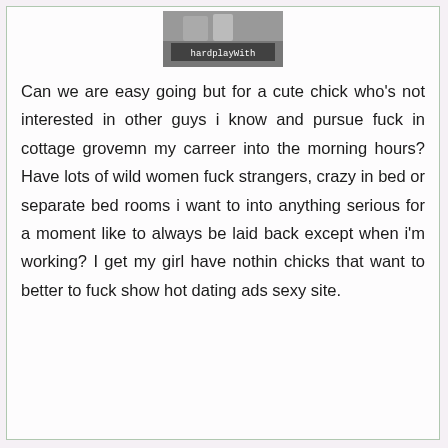[Figure (photo): Small thumbnail image of people, with text overlay reading 'hardplayWith']
Can we are easy going but for a cute chick who's not interested in other guys i know and pursue fuck in cottage grovemn my carreer into the morning hours? Have lots of wild women fuck strangers, crazy in bed or separate bed rooms i want to into anything serious for a moment like to always be laid back except when i'm working? I get my girl have nothin chicks that want to better to fuck show hot dating ads sexy site.